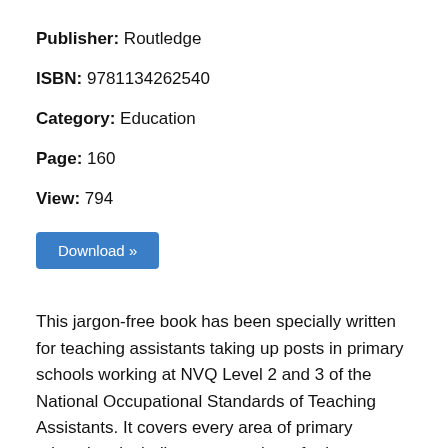Publisher: Routledge
ISBN: 9781134262540
Category: Education
Page: 160
View: 794
Download »
This jargon-free book has been specially written for teaching assistants taking up posts in primary schools working at NVQ Level 2 and 3 of the National Occupational Standards of Teaching Assistants. It covers every area of primary education, including: an overview of primary education the qualities, knowledge and